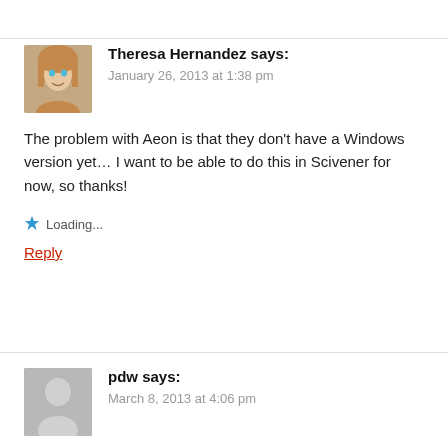Theresa Hernandez says:
January 26, 2013 at 1:38 pm
The problem with Aeon is that they don't have a Windows version yet… I want to be able to do this in Scivener for now, so thanks!
Loading...
Reply
pdw says:
March 8, 2013 at 4:06 pm